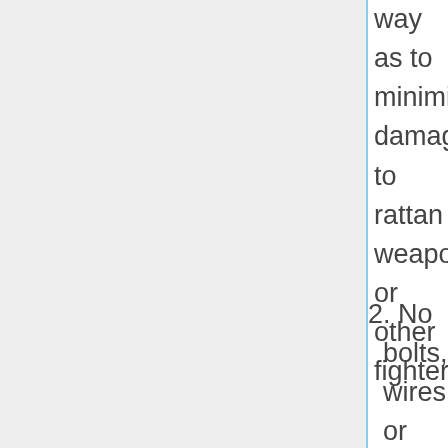way as to minimize damage to rattan weapons or other fighters.
2. No bolts, wires or other objects may project more than